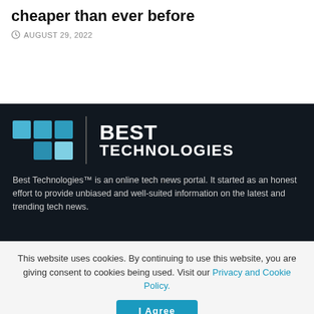cheaper than ever before
AUGUST 29, 2022
[Figure (logo): Best Technologies logo with teal grid squares and white bold text on dark background]
Best Technologies™ is an online tech news portal. It started as an honest effort to provide unbiased and well-suited information on the latest and trending tech news.
This website uses cookies. By continuing to use this website, you are giving consent to cookies being used. Visit our Privacy and Cookie Policy.